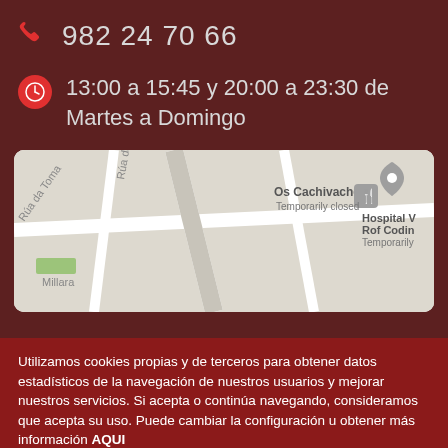982 24 70 66
13:00 a 15:45 y 20:00 a 23:30 de Martes a Domingo
[Figure (map): Google Maps embed showing Os Cachivaches restaurant (Temporarily closed) and Hospital Rof Codin (Temporarily) with street labels Rúa da Toma, Rúa da, Millara]
Utilizamos cookies propias y de terceros para obtener datos estadísticos de la navegación de nuestros usuarios y mejorar nuestros servicios. Si acepta o continúa navegando, consideramos que acepta su uso. Puede cambiar la configuración u obtener más información AQUI
Aceptar